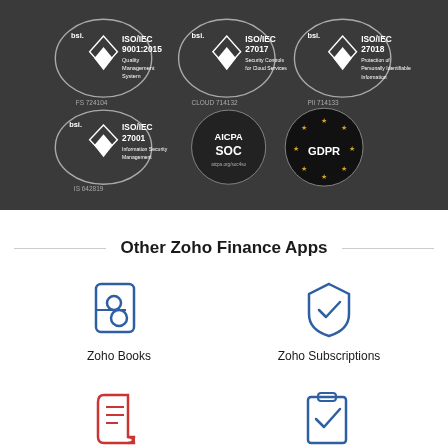[Figure (illustration): Dark background section showing certification badges: ISO/IEC 9001:2015 Quality Management System (FS 724104), ISO/IEC 27017 Security Controls for Cloud Services (CLOUD 714132), ISO/IEC 27018 Protection of Personally Identifiable Information (PII 714133), ISO/IEC 27001 Information Security Management (IS 642819), AICPA SOC badge, and GDPR badge. All badges displayed with BSI branding on a dark gray background.]
Other Zoho Finance Apps
[Figure (logo): Zoho Books app icon - blue line art icon resembling a stylized letter B with circular elements]
Zoho Books
[Figure (logo): Zoho Subscriptions app icon - blue line art icon resembling a shield or subscription symbol]
Zoho Subscriptions
[Figure (logo): Red line art icon resembling a scroll or expense receipt]
Zoho Expense
[Figure (logo): Blue line art icon resembling a clipboard with a checkmark - Zoho Checkout]
Zoho Checkout